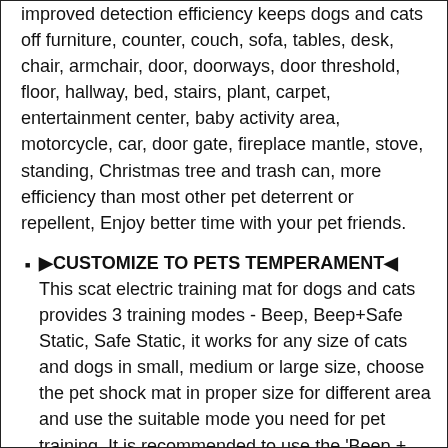improved detection efficiency keeps dogs and cats off furniture, counter, couch, sofa, tables, desk, chair, armchair, door, doorways, door threshold, floor, hallway, bed, stairs, plant, carpet, entertainment center, baby activity area, motorcycle, car, door gate, fireplace mantle, stove, standing, Christmas tree and trash can, more efficiency than most other pet deterrent or repellent, Enjoy better time with your pet friends.
🔶CUSTOMIZE TO PETS TEMPERAMENT🔶 This scat electric training mat for dogs and cats provides 3 training modes - Beep, Beep+Safe Static, Safe Static, it works for any size of cats and dogs in small, medium or large size, choose the pet shock mat in proper size for different area and use the suitable mode you need for pet training, It is recommended to use the 'Beep + Static'